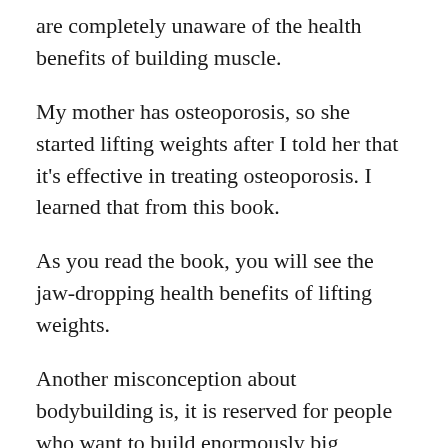are completely unaware of the health benefits of building muscle.
My mother has osteoporosis, so she started lifting weights after I told her that it's effective in treating osteoporosis. I learned that from this book.
As you read the book, you will see the jaw-dropping health benefits of lifting weights.
Another misconception about bodybuilding is, it is reserved for people who want to build enormously big muscles.
The book dispels the myth that you need to be a